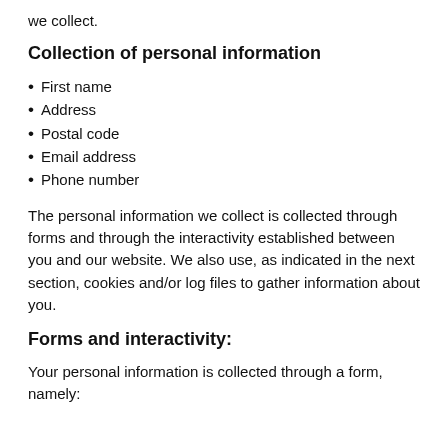we collect.
Collection of personal information
First name
Address
Postal code
Email address
Phone number
The personal information we collect is collected through forms and through the interactivity established between you and our website. We also use, as indicated in the next section, cookies and/or log files to gather information about you.
Forms and interactivity:
Your personal information is collected through a form, namely: